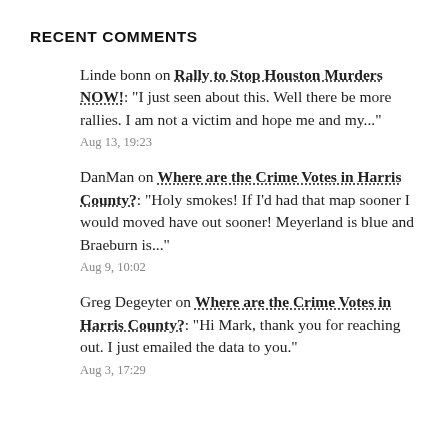RECENT COMMENTS
Linde bonn on Rally to Stop Houston Murders NOW!: "I just seen about this. Well there be more rallies. I am not a victim and hope me and my..."
Aug 13, 19:23
DanMan on Where are the Crime Votes in Harris County?: "Holy smokes! If I'd had that map sooner I would moved have out sooner! Meyerland is blue and Braeburn is..."
Aug 9, 10:02
Greg Degeyter on Where are the Crime Votes in Harris County?: "Hi Mark, thank you for reaching out. I just emailed the data to you."
Aug 3, 17:29